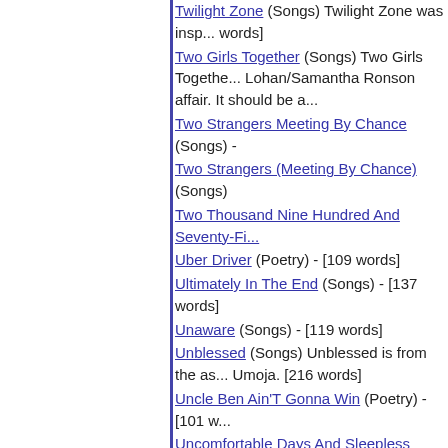Twilight Zone (Songs) Twilight Zone was insp... words]
Two Girls Together (Songs) Two Girls Togethe... Lohan/Samantha Ronson affair. It should be a...
Two Strangers Meeting By Chance (Songs) -
Two Strangers (Meeting By Chance) (Songs)
Two Thousand Nine Hundred And Seventy-Fi...
Uber Driver (Poetry) - [109 words]
Ultimately In The End (Songs) - [137 words]
Unaware (Songs) - [119 words]
Unblessed (Songs) Unblessed is from the as... Umoja. [216 words]
Uncle Ben Ain'T Gonna Win (Poetry) - [101 w...
Uncomfortable Days And Sleepless Nights (P...
Unconditional (My Love Endures) (Songs) Un... Johannes Ortner, who asked Mr. McClester to... his sentiments for his newborn daughter Mari...
Undecided (Undecided About What?) (Songs)
Under Age And Abused (Songs) - [331 words]
Under Him (Poetry) - [142 words]
Under The Ahca (Poetry) - [101 words]
Under The Cover Of The Night (Songs) - [122...
Undocumented Immigrant (Poetry) - [118 wor...
Unholy Alliance (Songs) Unholy Alliance was... the Middle East. State sponsored assassinatio... some people's perspective. I wrote this from...